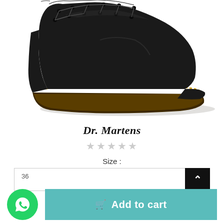[Figure (photo): Black Dr. Martens leather boot with yellow stitching and dark rubber sole, shown from side profile on white background]
Dr. Martens
★★★★★ (empty star rating)
Size :
36
Add to cart